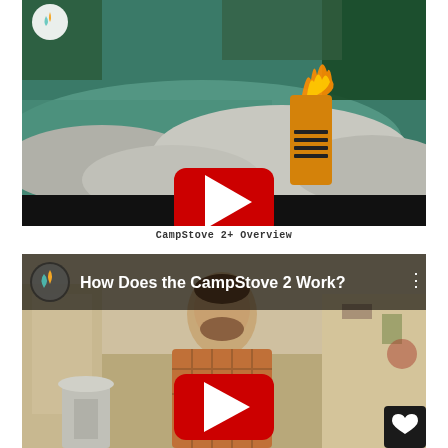[Figure (screenshot): YouTube video thumbnail for CampStove 2+ Overview — a camp stove with flame sitting on rocks beside a river, with a red YouTube play button overlay. A YouTube/BioLite channel logo is in the top-left corner. Bottom portion is a black letterbox bar.]
CampStove 2+ Overview
[Figure (screenshot): YouTube video thumbnail for 'How Does the CampStove 2 Work?' — a bearded man in a plaid shirt in a workshop, with a BioLite logo and title bar at top, a red YouTube play button overlay, and a heart/save button in the bottom-right corner.]